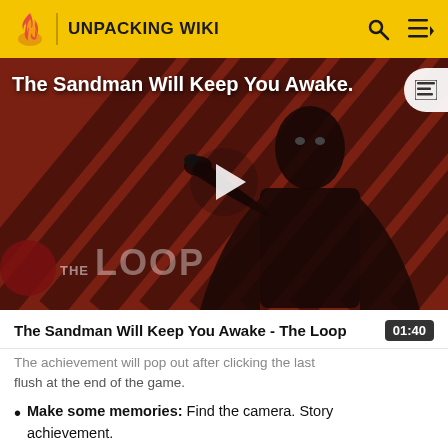UNPACKING WIKI
[Figure (screenshot): Video thumbnail for 'The Sandman Will Keep You Awake - The Loop' showing a dark-clad figure against a red and black striped background, with a play button overlay and 'THE LOOP' text badge in the lower left.]
The Sandman Will Keep You Awake - The Loop  01:40
The achievement will pop out after clicking the last flush at the end of the game.
Make some memories: Find the camera. Story achievement.